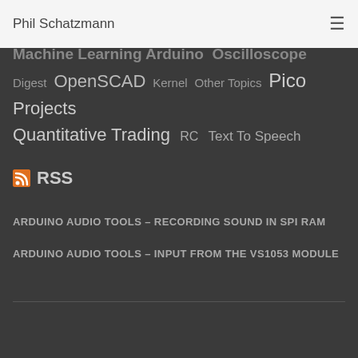Phil Schatzmann
Machine Learning Arduino Oscilloscope Digest OpenSCAD Kernel Other Topics Pico Projects Quantitative Trading RC Text To Speech
RSS
ARDUINO AUDIO TOOLS – RECORDING SOUND IN SPI RAM
ARDUINO AUDIO TOOLS – INPUT FROM THE VS1053 MODULE